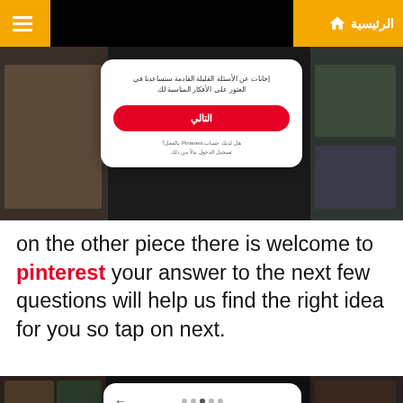الرئيسية (Home navigation bar with hamburger menu)
[Figure (screenshot): Pinterest app screenshot showing welcome screen in Arabic with a red 'التالي' (Next) button and modal card overlay, dark background with lifestyle images]
on the other piece there is welcome to pinterest your answer to the next few questions will help us find the right idea for you so tap on next.
[Figure (screenshot): Pinterest app screenshot showing language and country/region picker screen with 'Pick your language and country/region' heading, two dropdown selectors (English/US and Privacy/Region), and a red 'Next' button, with an orange floating cookie/settings button in the bottom right]